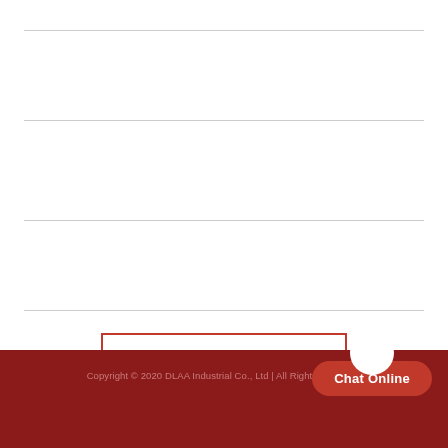[Figure (other): Webpage bottom section with horizontal dividing lines on white background, a 'Leave a Message' button with red border, a dark red footer bar with copyright text, and a 'Chat Online' button at the bottom right]
Leave a Message
Copyright © 2020 DLAA Industrial Co., Ltd | All Rights Reserved
Chat Online